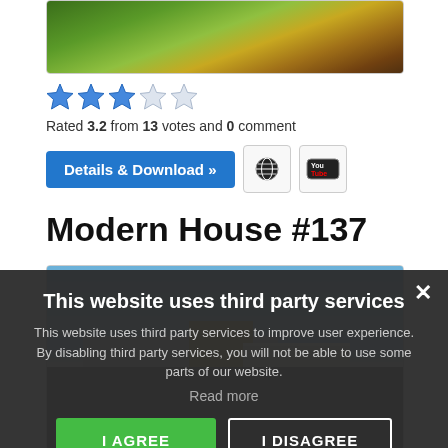[Figure (screenshot): Top portion of a Minecraft-style house image with wooden and green elements]
Rated 3.2 from 13 votes and 0 comment
Details & Download »
Modern House #137
[Figure (screenshot): Modern house with white and tan blocks against a blue sky, partially obscured by cookie consent overlay]
This website uses third party services
This website uses third party services to improve user experience. By disabling third party services, you will not be able to use some parts of our website.
Read more
I AGREE
I DISAGREE